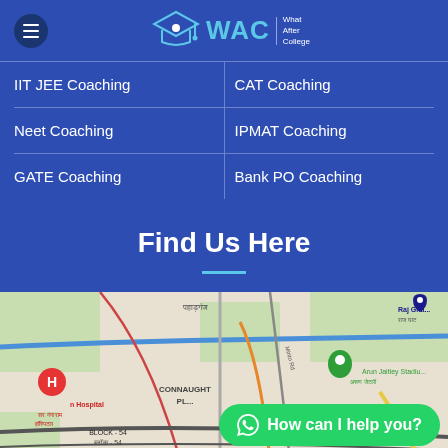[Figure (logo): WAC - What After College logo with graduation cap icon and hamburger menu button on dark blue background]
IIT JEE Coaching
CAT Coaching
Neet Coaching
IPMAT Coaching
GATE Coaching
Bank PO Coaching
Find Us Here
[Figure (map): Google Maps showing Connaught Place area in New Delhi, with markers for hospitals, Arun Jaitley Stadium, Raj Ghat, and surrounding roads including Minto Rd]
How can I help you?